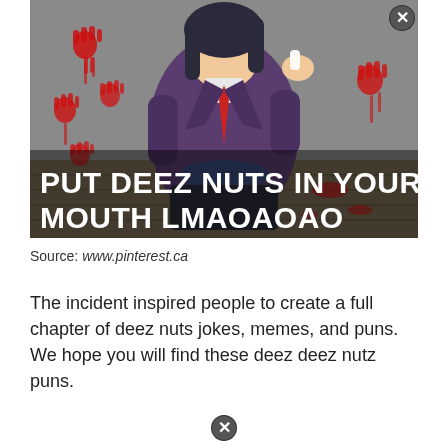[Figure (illustration): Anime character illustration with dark/horror theme. Blood handprints on wall background. Character wearing dark purple jacket and red tie. White bold text overlay reading 'PUT DEEZ NUTS IN YOUR MOUTH LMAOAOAO'. Close/X button in top right corner of image.]
Source: www.pinterest.ca
The incident inspired people to create a full chapter of deez nuts jokes, memes, and puns. We hope you will find these deez deez nutz puns.